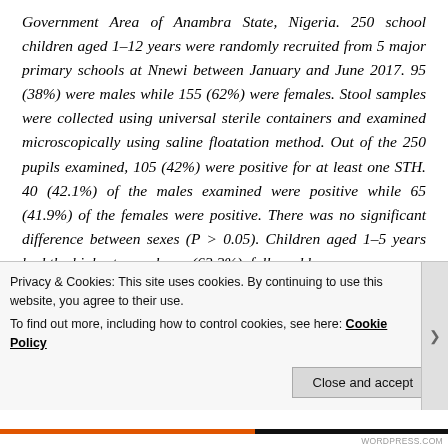Government Area of Anambra State, Nigeria. 250 school children aged 1–12 years were randomly recruited from 5 major primary schools at Nnewi between January and June 2017. 95 (38%) were males while 155 (62%) were females. Stool samples were collected using universal sterile containers and examined microscopically using saline floatation method. Out of the 250 pupils examined, 105 (42%) were positive for at least one STH. 40 (42.1%) of the males examined were positive while 65 (41.9%) of the females were positive. There was no significant difference between sexes (P > 0.05). Children aged 1–5 years had the highest prevalence (62.2%), followed by
Privacy & Cookies: This site uses cookies. By continuing to use this website, you agree to their use.
To find out more, including how to control cookies, see here: Cookie Policy
Close and accept